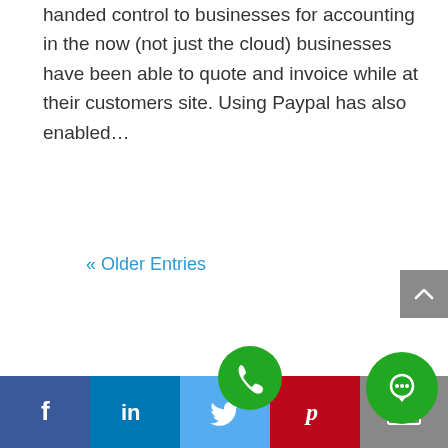handed control to businesses for accounting in the now (not just the cloud) businesses have been able to quote and invoice while at their customers site. Using Paypal has also enabled…
« Older Entries
[Figure (screenshot): Social media footer bar with Facebook, LinkedIn, Twitter, Pinterest, and Email icons; floating green phone and chat buttons; grey scroll-to-top arrow button]